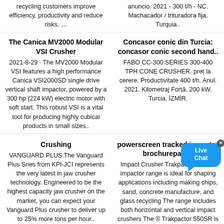recycling customers improve efficiency, productivity and reduce risks. …
anuncio. 2021 - 300 t/h - NC. Machacador / trituradora fija. Turquia..
The Canica MV2000 Modular VSI Crusher
Concasor conic din Turcia: concasor conic second hand..
2021-8-29 · The MV2000 Modular VSI features a high performance Canica VSI2000SD single drive vertical shaft impactor, powered by a 300 hp (224 kW) electric motor with soft start. This robust VSI is a vital tool for producing highly cubical products in small sizes..
FABO CC-300 SERIES 300-400 TPH CONE CRUSHER. preț la cerere. Productivitate 400 t/h. Anul. 2021. Kilometraj Forță. 200 kW. Turcia. İZMİR.
Crushing
powerscreen tracked impactor brochurepages
VANGUARD PLUS The Vanguard Plus Sries from KPI-JCI represents the very latest in jaw crusher technology. Engineered to be the highest capacity jaw crusher on the market, you can expect your Vanguard Plus crusher to deliver up to 25% more tons per hour..
Impact Crusher Trakpactor 260. "s impactor range is ideal for shaping applications including making chips, sand, concrete manufacture, and glass recycling The range includes both horizontal and vertical impact crushers The ® Trakpactor 550SR is a tracked..